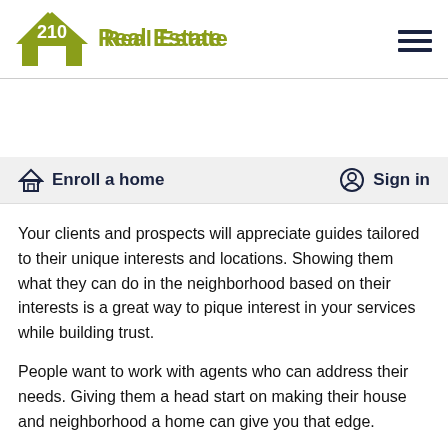210 Real Estate
Enroll a home   Sign in
Your clients and prospects will appreciate guides tailored to their unique interests and locations. Showing them what they can do in the neighborhood based on their interests is a great way to pique interest in your services while building trust.
People want to work with agents who can address their needs. Giving them a head start on making their house and neighborhood a home can give you that edge.
2. Testimonials about why they